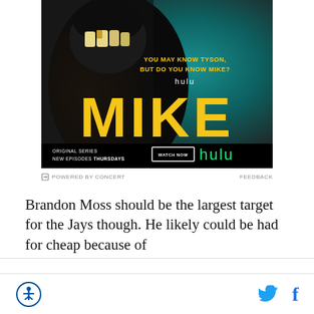[Figure (photo): Hulu advertisement for the series MIKE. Shows a person with mouth wide open displaying gold teeth against a teal/dark background. Yellow bold text reads MIKE with tagline YOU MAY KNOW TYSON, BUT DO YOU KNOW MIKE? hulu branding. Bottom bar shows ORIGINAL SERIES NEW EPISODES THURSDAYS with WATCH NOW button and hulu logo in green.]
POWERED BY CONCERT   FEEDBACK
Brandon Moss should be the largest target for the Jays though. He likely could be had for cheap because of